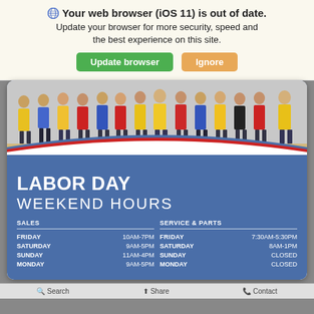🌐 Your web browser (iOS 11) is out of date. Update your browser for more security, speed and the best experience on this site. [Update browser] [Ignore]
[Figure (photo): Group of employees in colored polo shirts (yellow, blue, red) standing in a row, with a curved red/white/blue graphic overlay at the bottom leading into a blue information panel.]
LABOR DAY WEEKEND HOURS
| SALES |  | SERVICE & PARTS |  |
| --- | --- | --- | --- |
| FRIDAY | 10AM-7PM | FRIDAY | 7:30AM-5:30PM |
| SATURDAY | 9AM-5PM | SATURDAY | 8AM-1PM |
| SUNDAY | 11AM-4PM | SUNDAY | CLOSED |
| MONDAY | 9AM-5PM | MONDAY | CLOSED |
Search    Share    Contact